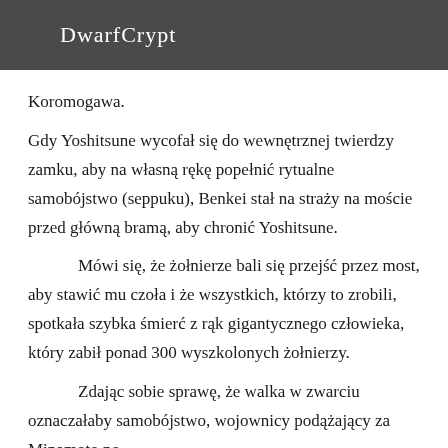DwarfCrypt
Koromogawa.
Gdy Yoshitsune wycofał się do wewnętrznej twierdzy zamku, aby na własną rękę popełnić rytualne samobójstwo (seppuku), Benkei stał na straży na moście przed główną bramą, aby chronić Yoshitsune.
Mówi się, że żołnierze bali się przejść przez most, aby stawić mu czoła i że wszystkich, którzy to zrobili, spotkała szybka śmierć z rąk gigantycznego człowieka, który zabił ponad 300 wyszkolonych żołnierzy.
Zdając sobie sprawę, że walka w zwarciu oznaczałaby samobójstwo, wojownicy podążający za Minamoto no